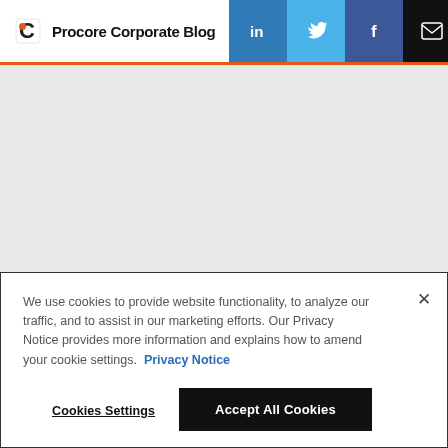Procore Corporate Blog
[Figure (screenshot): Light gray rectangular placeholder image area below the Procore Corporate Blog header]
We use cookies to provide website functionality, to analyze our traffic, and to assist in our marketing efforts. Our Privacy Notice provides more information and explains how to amend your cookie settings. Privacy Notice
Cookies Settings | Accept All Cookies